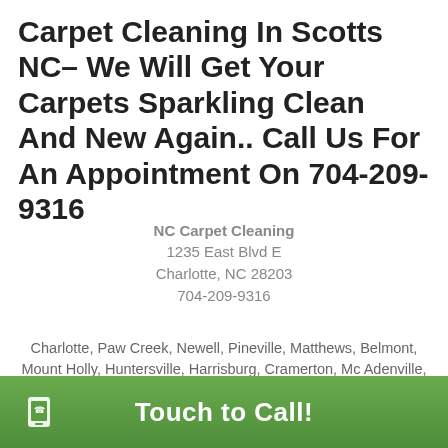Carpet Cleaning In Scotts NC– We Will Get Your Carpets Sparkling Clean And New Again.. Call Us For An Appointment On 704-209-9316
NC Carpet Cleaning
1235 East Blvd E
Charlotte, NC 28203
704-209-9316
Charlotte, Paw Creek, Newell, Pineville, Matthews, Belmont, Mount Holly, Huntersville, Harrisburg, Cramerton, Mc Adenville, Lowell, Indian Trail, Fort Mill, Gastonia, Stanley, Concord, Cornelius, Midland, Davidson, Alexis, Mount Mourne, Dallas, Van Wyck, Monroe, Denver, Rock Hill, Clover, Waxhaw, Bowling Green, Kannapolis, Mineral Springs, Iron Station, High Shoals,
Touch to Call!